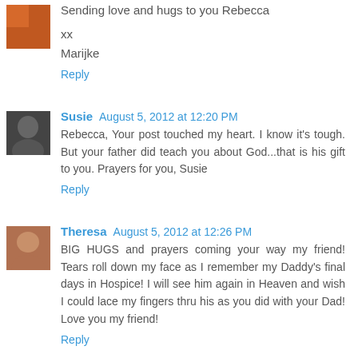Sending love and hugs to you Rebecca
xx
Marijke
Reply
Susie  August 5, 2012 at 12:20 PM
Rebecca, Your post touched my heart. I know it's tough. But your father did teach you about God...that is his gift to you. Prayers for you, Susie
Reply
Theresa  August 5, 2012 at 12:26 PM
BIG HUGS and prayers coming your way my friend! Tears roll down my face as I remember my Daddy's final days in Hospice! I will see him again in Heaven and wish I could lace my fingers thru his as you did with your Dad! Love you my friend!
Reply